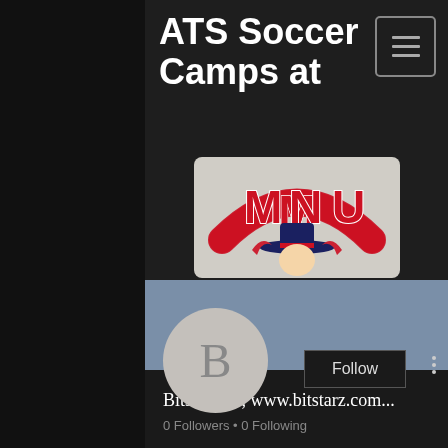ATS Soccer Camps at
[Figure (logo): MNU (Mid-America Nazarene University) athletic logo with red letters MNU and a cowboy mascot with a hat, in red, blue, and white colors]
[Figure (screenshot): Social media profile section with blue-gray banner, circular avatar with letter B, Follow button, three-dot menu, username 'Bitstarz 15, www.bitstarz.com...', and '0 Followers • 0 Following' stats]
Bitstarz 15, www.bitstarz.com...
0 Followers • 0 Following